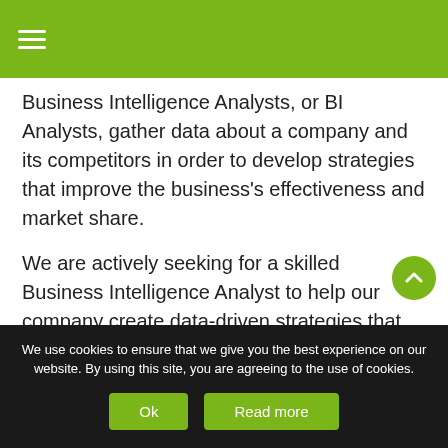≡
Business Intelligence Analysts, or BI Analysts, gather data about a company and its competitors in order to develop strategies that improve the business's effectiveness and market share.
We are actively seeking for a skilled Business Intelligence Analyst to help our company create data-driven strategies that improve our processes. You will be working with a team to mine data, develop analytics tools, and report back on your findings and solutions.
We use cookies to ensure that we give you the best experience on our website. By using this site, you are agreeing to the use of cookies.